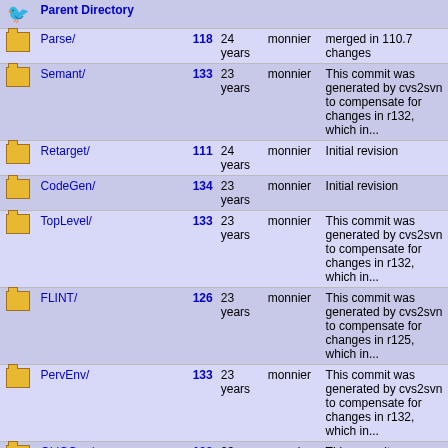| Icon | Name | Rev | Age | Author | Last log entry |
| --- | --- | --- | --- | --- | --- |
| [up] | Parent Directory |  |  |  |  |
| [folder] | Parse/ | 118 | 24 years | monnier | merged in 110.7 changes |
| [folder] | Semant/ | 133 | 23 years | monnier | This commit was generated by cvs2svn to compensate for changes in r132, which in... |
| [folder] | Retarget/ | 111 | 24 years | monnier | Initial revision |
| [folder] | CodeGen/ | 134 | 23 years | monnier | Initial revision |
| [folder] | TopLevel/ | 133 | 23 years | monnier | This commit was generated by cvs2svn to compensate for changes in r132, which in... |
| [folder] | FLINT/ | 126 | 23 years | monnier | This commit was generated by cvs2svn to compensate for changes in r125, which in... |
| [folder] | PervEnv/ | 133 | 23 years | monnier | This commit was generated by cvs2svn to compensate for changes in r132, which in... |
| [folder] | OldCGen/ | 133 | 23 years | monnier | This commit was generated by cvs2svn to compensate for changes in r132, which in... |
| [folder] | MiscUtil/ | 114 | 24 years | monnier | This commit was generated by cvs2svn to compensate for changes in r113, which in... |
| [file] | .cvsignore | 62 | 24 years | monnier | *** empty log message *** |
| [file] | LICENSE | 107 | 24 years | monnier | This commit was generated by cvs2svn to compensate for changes in r106, which in... |
| [file] | COPYRIGHT | 107 | 24 | monnier | This commit was generated by |